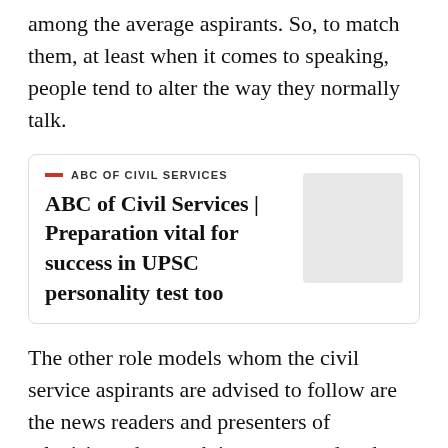among the average aspirants. So, to match them, at least when it comes to speaking, people tend to alter the way they normally talk.
ABC of Civil Services | Preparation vital for success in UPSC personality test too
The other role models whom the civil service aspirants are advised to follow are the news readers and presenters of television who speak in a measured and articulated way. The final round of questions in the beauty pageants also sometimes becomes a point of reference for the interview. Here, one could often see the contestant repeating the questions buying